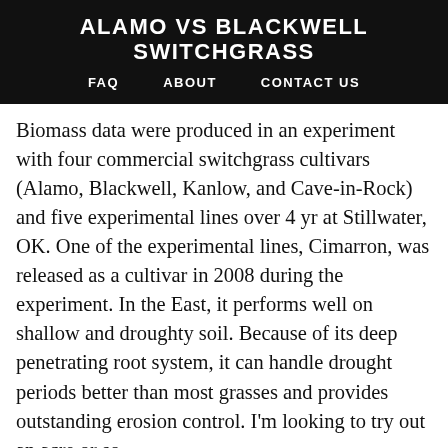ALAMO VS BLACKWELL SWITCHGRASS
FAQ   ABOUT   CONTACT US
Biomass data were produced in an experiment with four commercial switchgrass cultivars (Alamo, Blackwell, Kanlow, and Cave-in-Rock) and five experimental lines over 4 yr at Stillwater, OK. One of the experimental lines, Cimarron, was released as a cultivar in 2008 during the experiment. In the East, it performs well on shallow and droughty soil. Because of its deep penetrating root system, it can handle drought periods better than most grasses and provides outstanding erosion control. I'm looking to try out an acre or so